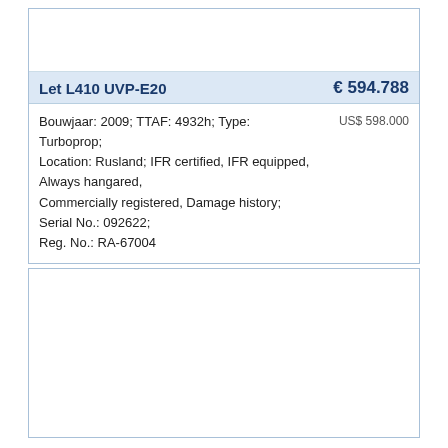Let L410 UVP-E20
€ 594.788
Bouwjaar: 2009; TTAF: 4932h; Type: Turboprop; Location: Rusland; IFR certified, IFR equipped, Always hangared, Commercially registered, Damage history; Serial No.: 092622; Reg. No.: RA-67004
US$ 598.000
[Figure (photo): Empty white area, placeholder for aircraft image in bottom card]